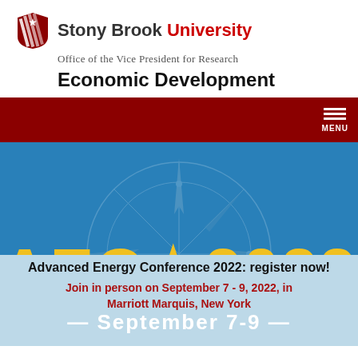[Figure (logo): Stony Brook University shield logo with red and white stripes and star]
Stony Brook University
Office of the Vice President for Research
Economic Development
[Figure (screenshot): Dark red navigation bar with hamburger menu icon and MENU label on right side]
[Figure (infographic): AEC 2022 Advanced Energy Conference banner with compass rose background, blue background, large yellow AEC 2022 text, white September 7-9 text, and light blue lower section with registration information]
Advanced Energy Conference 2022: register now!
Join in person on September 7 - 9, 2022, in Marriott Marquis, New York